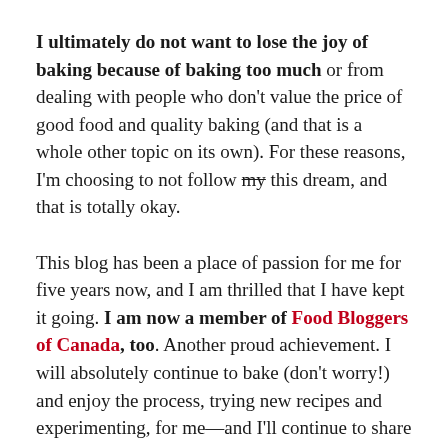I ultimately do not want to lose the joy of baking because of baking too much or from dealing with people who don't value the price of good food and quality baking (and that is a whole other topic on its own). For these reasons, I'm choosing to not follow my this dream, and that is totally okay.
This blog has been a place of passion for me for five years now, and I am thrilled that I have kept it going. I am now a member of Food Bloggers of Canada, too. Another proud achievement. I will absolutely continue to bake (don't worry!) and enjoy the process, trying new recipes and experimenting, for me—and I'll continue to share those experiences here, with you.
Now, I have begun to dream new dreams, and it is exciting to think of what possibilities lie ahead. I already know what taking a leap of faith requires of me, I've now